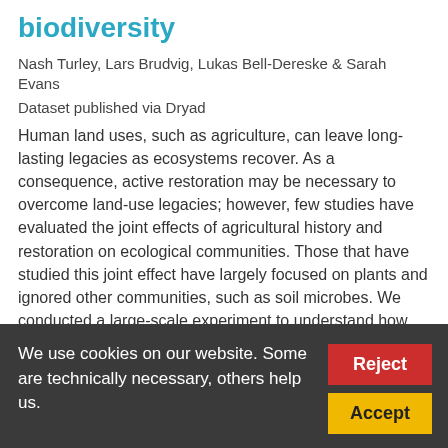biodiversity
Nash Turley, Lars Brudvig, Lukas Bell-Dereske & Sarah Evans
Dataset published via Dryad
Human land uses, such as agriculture, can leave long-lasting legacies as ecosystems recover. As a consequence, active restoration may be necessary to overcome land-use legacies; however, few studies have evaluated the joint effects of agricultural history and restoration on ecological communities. Those that have studied this joint effect have largely focused on plants and ignored other communities, such as soil microbes. We conducted a large-scale experiment to understand how agricultural history and restoration tree thinning...
No citations were reported.  114 views  18 downloads
We use cookies on our website. Some are technically necessary, others help us.